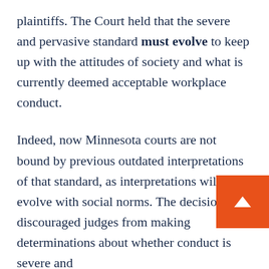plaintiffs. The Court held that the severe and pervasive standard must evolve to keep up with the attitudes of society and what is currently deemed acceptable workplace conduct.
Indeed, now Minnesota courts are not bound by previous outdated interpretations of that standard, as interpretations will evolve with social norms. The decision also discouraged judges from making determinations about whether conduct is severe and